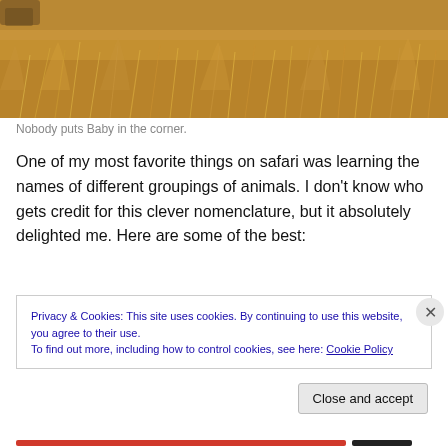[Figure (photo): A safari landscape photo showing dry golden grass with an animal partially visible, cropped to show mainly the grass/savanna vegetation in warm golden-brown tones.]
Nobody puts Baby in the corner.
One of my most favorite things on safari was learning the names of different groupings of animals. I don't know who gets credit for this clever nomenclature, but it absolutely delighted me. Here are some of the best:
Privacy & Cookies: This site uses cookies. By continuing to use this website, you agree to their use.
To find out more, including how to control cookies, see here: Cookie Policy
Close and accept